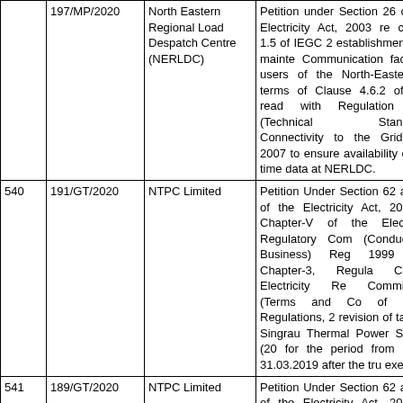| No. | Case No. | Party | Description |
| --- | --- | --- | --- |
|  | 197/MP/2020 | North Eastern Regional Load Despatch Centre (NERLDC) | Petition under Section 26 of the Electricity Act, 2003 read with clause 1.5 of IEGC 2 for establishment and maintenance of Communication facilities for the users of the North-Eastern Region in terms of Clause 4.6.2 of IEGC 2010 read with Regulation 6(3) of IEGC (Technical Standards for Connectivity to the Grid) Regulations, 2007 to ensure availability of real time data at NERLDC. |
| 540 | 191/GT/2020 | NTPC Limited | Petition Under Section 62 and 79(1)(a) of the Electricity Act, 2003 read with Chapter-V of the Central Electricity Regulatory Commission (Conduct of Business) Regulations, 1999 and Chapter-3, Regulation 7 of Central Electricity Regulatory Commission (Terms and Conditions of Tariff) Regulations, 2014 for revision of tariff of Singrauli Thermal Power Station (200 MW) for the period from 01.04.2014 to 31.03.2019 after the truing up exercise. |
| 541 | 189/GT/2020 | NTPC Limited | Petition Under Section 62 and 79(1)(a) of the Electricity Act, 2003 read with Chapter-V of the Central Electricity Regulatory Commission |